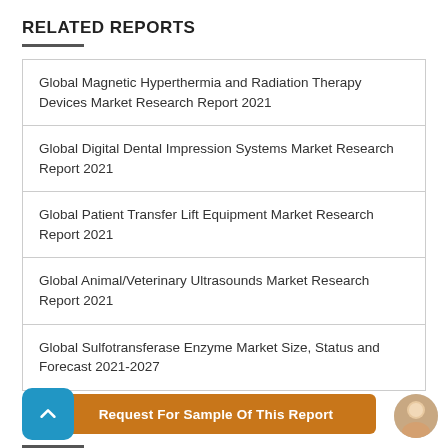RELATED REPORTS
Global Magnetic Hyperthermia and Radiation Therapy Devices Market Research Report 2021
Global Digital Dental Impression Systems Market Research Report 2021
Global Patient Transfer Lift Equipment Market Research Report 2021
Global Animal/Veterinary Ultrasounds Market Research Report 2021
Global Sulfotransferase Enzyme Market Size, Status and Forecast 2021-2027
Request For Sample Of This Report